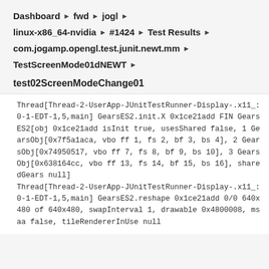Dashboard ▶ fwd ▶ jogl ▶
linux-x86_64-nvidia ▶ #1424 ▶ Test Results ▶
com.jogamp.opengl.test.junit.newt.mm ▶
TestScreenMode01dNEWT ▶
test02ScreenModeChange01
Thread[Thread-2-UserApp-JUnitTestRunner-Display-.x11_:0-1-EDT-1,5,main] GearsES2.init.X 0x1ce21add FIN GearsES2[obj 0x1ce21add isInit true, usesShared false, 1 GearsObj[0x7f5a1aca, vbo ff 1, fs 2, bf 3, bs 4], 2 GearsObj[0x74950517, vbo ff 7, fs 8, bf 9, bs 10], 3 GearsObj[0x638164cc, vbo ff 13, fs 14, bf 15, bs 16], sharedGears null] Thread[Thread-2-UserApp-JUnitTestRunner-Display-.x11_:0-1-EDT-1,5,main] GearsES2.reshape 0x1ce21add 0/0 640x480 of 640x480, swapInterval 1, drawable 0x4800008, msaa false, tileRendererInUse null